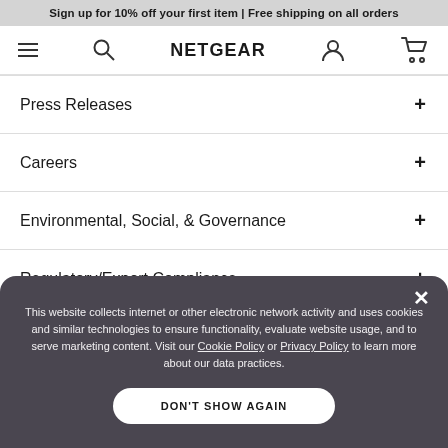Sign up for 10% off your first item | Free shipping on all orders
[Figure (screenshot): Netgear website navigation bar with hamburger menu, search icon, NETGEAR logo, user account icon, and shopping cart icon]
Press Releases
Careers
Environmental, Social, & Governance
Regulatory/Export Compliance
This website collects internet or other electronic network activity and uses cookies and similar technologies to ensure functionality, evaluate website usage, and to serve marketing content. Visit our Cookie Policy or Privacy Policy to learn more about our data practices.
DON'T SHOW AGAIN